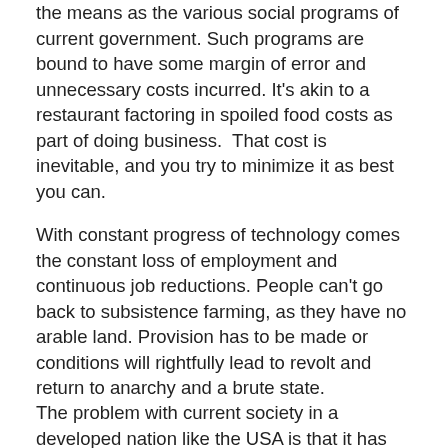the means as the various social programs of current government. Such programs are bound to have some margin of error and unnecessary costs incurred. It's akin to a restaurant factoring in spoiled food costs as part of doing business. That cost is inevitable, and you try to minimize it as best you can.
With constant progress of technology comes the constant loss of employment and continuous job reductions. People can't go back to subsistence farming, as they have no arable land. Provision has to be made or conditions will rightfully lead to revolt and return to anarchy and a brute state.
The problem with current society in a developed nation like the USA is that it has already devolved back to the